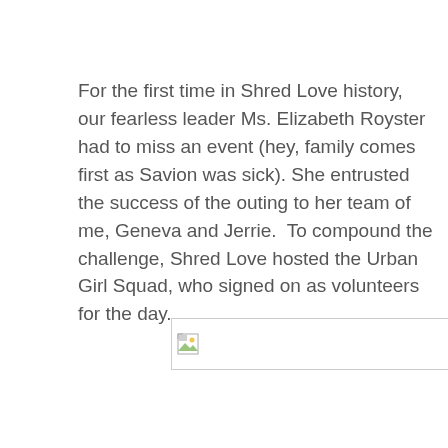For the first time in Shred Love history, our fearless leader Ms. Elizabeth Royster had to miss an event (hey, family comes first as Savion was sick). She entrusted the success of the outing to her team of me, Geneva and Jerrie.  To compound the challenge, Shred Love hosted the Urban Girl Squad, who signed on as volunteers for the day.
[Figure (photo): Broken image placeholder — a small broken image icon with a light border, indicating an image that failed to load.]